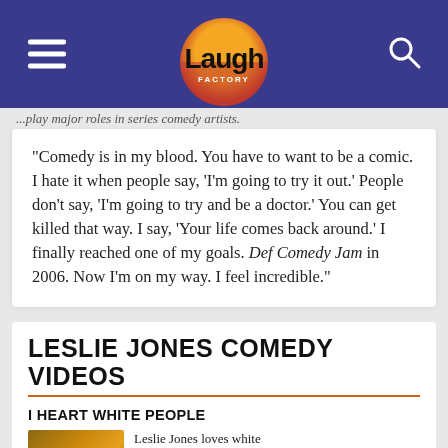Laugh Factory — navigation header with hamburger menu, logo, and search icon
...play major roles in series comedy artists.
"Comedy is in my blood. You have to want to be a comic. I hate it when people say, 'I'm going to try it out.' People don't say, 'I'm going to try and be a doctor.' You can get killed that way. I say, 'Your life comes back around.' I finally reached one of my goals. Def Comedy Jam in 2006. Now I'm on my way. I feel incredible."
LESLIE JONES COMEDY VIDEOS
I HEART WHITE PEOPLE
Leslie Jones loves white